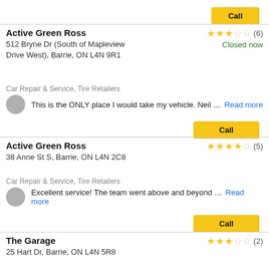Call
Active Green Ross
512 Bryne Dr (South of Mapleview Drive West), Barrie, ON L4N 9R1
★★★☆☆ (6)
Closed now
Car Repair & Service, Tire Retailers
This is the ONLY place I would take my vehicle. Neil … Read more
Call
Active Green Ross
38 Anne St S, Barrie, ON L4N 2C8
★★★★☆ (5)
Car Repair & Service, Tire Retailers
Excellent service! The team went above and beyond … Read more
Call
The Garage
25 Hart Dr, Barrie, ON L4N 5R8
★★★☆☆ (2)